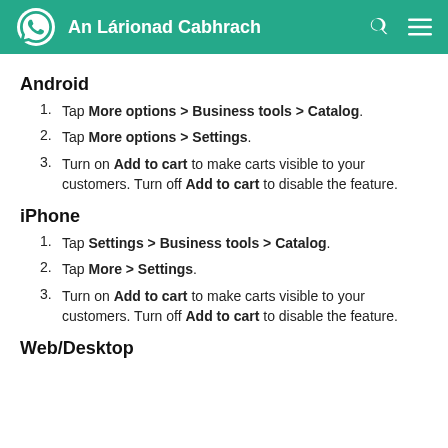An Lárionad Cabhrach
Android
Tap More options > Business tools > Catalog.
Tap More options > Settings.
Turn on Add to cart to make carts visible to your customers. Turn off Add to cart to disable the feature.
iPhone
Tap Settings > Business tools > Catalog.
Tap More > Settings.
Turn on Add to cart to make carts visible to your customers. Turn off Add to cart to disable the feature.
Web/Desktop